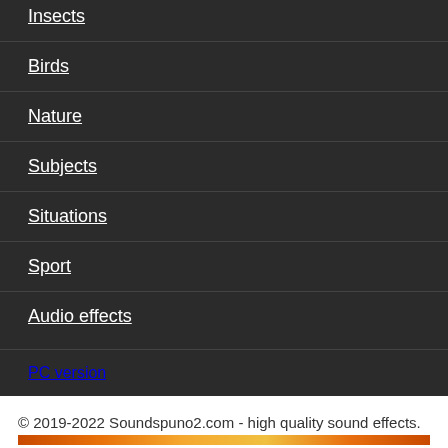Insects
Birds
Nature
Subjects
Situations
Sport
Audio effects
PC version
© 2019-2022 Soundspuno2.com - high quality sound effects.
Home page » No copyright background music » Cool music for videos (no copyright)